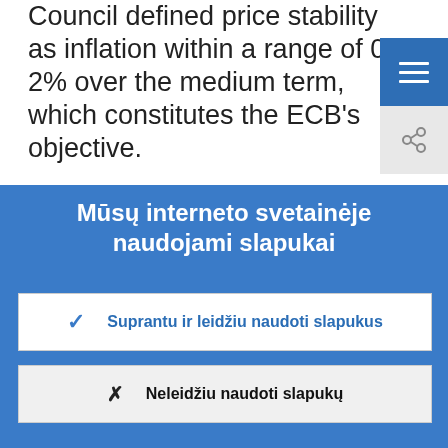Council defined price stability as inflation within a range of 0-2% over the medium term, which constitutes the ECB's objective.
Mūsų interneto svetainėje naudojami slapukai
Nuolat stengiamės, kad mūsų interneto svetainė lankytojams būtų patogesnė. Tam naudojame slapukų surinktus anoniminius duomenis.
> Sužinokite daugiau, kaip naudojame slapukus
✓ Suprantu ir leidžiu naudoti slapukus
✗ Neleidžiu naudoti slapukų